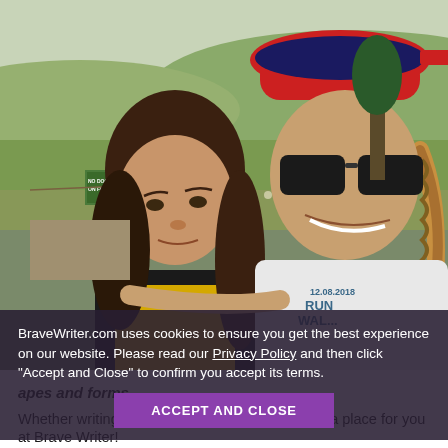[Figure (photo): Two people posing for a selfie outdoors. On the left is a younger person wearing a yellow shirt and black jacket with long brown hair. On the right is an older person wearing sunglasses, a baseball cap, and a white race/run t-shirt with '12.08.2018 RUN' text, with a braided ponytail. Background shows green fields, hills, and a 'NO DOGS ON FIELDS' sign.]
BraveWriter.com uses cookies to ensure you get the best experience on our website. Please read our Privacy Policy and then click “Accept and Close” to confirm you accept its terms.
ACCEPT AND CLOSE
apes and forms.
Whether writing fictio there’s a place for you at Brave Writer!